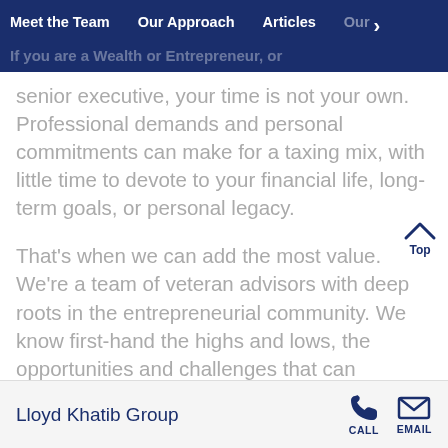Meet the Team | Our Approach | Articles | Our
senior executive, your time is not your own. Professional demands and personal commitments can make for a taxing mix, with little time to devote to your financial life, long-term goals, or personal legacy.
That's when we can add the most value. We're a team of veteran advisors with deep roots in the entrepreneurial community. We know first-hand the highs and lows, the opportunities and challenges that can characterize life in Silicon Valley and beyond. We've spent our
Lloyd Khatib Group  CALL  EMAIL